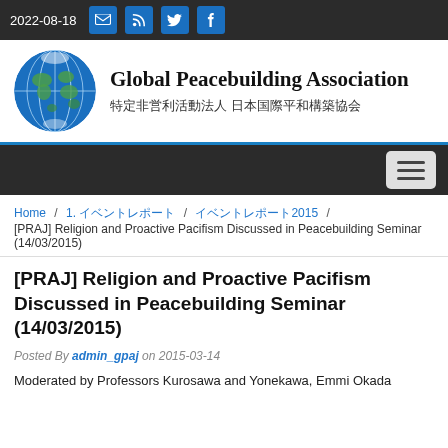2022-08-18
[Figure (logo): Globe logo for Global Peacebuilding Association]
Global Peacebuilding Association 特定非営利活動法人 日本国際平和構築協会
Home / 1. イベントレポート / イベントレポート2015 / [PRAJ] Religion and Proactive Pacifism Discussed in Peacebuilding Seminar (14/03/2015)
[PRAJ] Religion and Proactive Pacifism Discussed in Peacebuilding Seminar (14/03/2015)
Posted By admin_gpaj on 2015-03-14
Moderated by Professors Kurosawa and Yonekawa, Emmi Okada